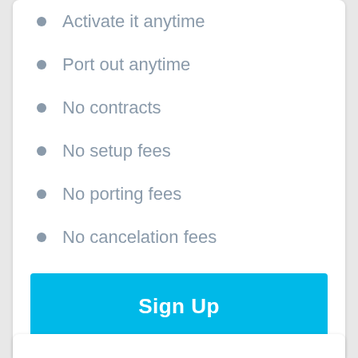Activate it anytime
Port out anytime
No contracts
No setup fees
No porting fees
No cancelation fees
Sign Up